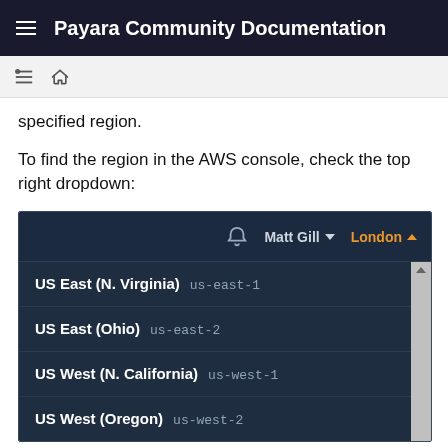Payara Community Documentation
specified region.
To find the region in the AWS console, check the top right dropdown:
[Figure (screenshot): AWS console top navigation bar showing Matt Gill user dropdown and London region selected (orange), with a dropdown list showing: US East (N. Virginia) us-east-1, US East (Ohio) us-east-2, US West (N. California) us-west-1, US West (Oregon) us-west-2]